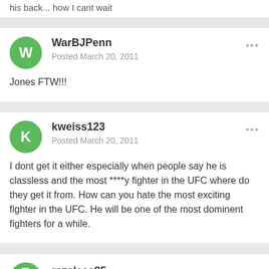his back... how I cant wait
WarBJPenn
Posted March 20, 2011
Jones FTW!!!
kweiss123
Posted March 20, 2011
I dont get it either especially when people say he is classless and the most ****y fighter in the UFC where do they get it from. How can you hate the most exciting fighter in the UFC. He will be one of the most dominent fighters for a while.
razalees85